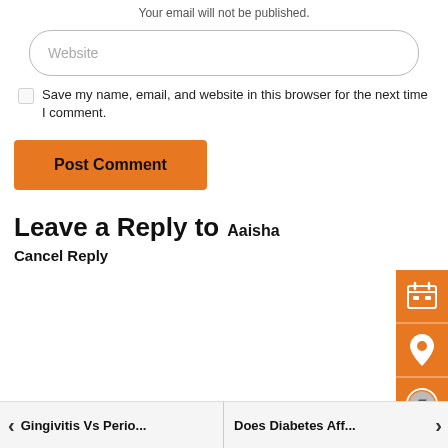Your email will not be published.
Website
Save my name, email, and website in this browser for the next time I comment.
Post Comment
Leave a Reply to Aaisha
Cancel Reply
[Figure (illustration): Orange sidebar with calendar icon, location pin icon, and rupee coin icon]
Gingivitis Vs Perio... Does Diabetes Aff...